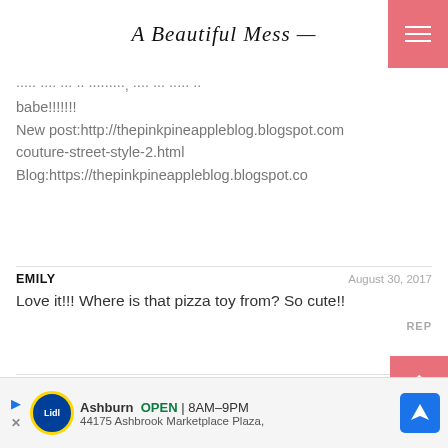A Beautiful Mess
...These pics are so adorable, Ive had thanks to babe!!!!!!!! New post:http://thepinkpineappleblog.blogspot.com couture-street-style-2.html Blog:https://thepinkpineappleblog.blogspot.co
EMILY  August 30, 2017
Love it!!! Where is that pizza toy from? So cute!!
LAURA CUMMERMAN  September 01, 2017
You... http...
[Figure (screenshot): Lidl store advertisement banner: Ashburn OPEN 8AM-9PM, 44175 Ashbrook Marketplace Plaza]